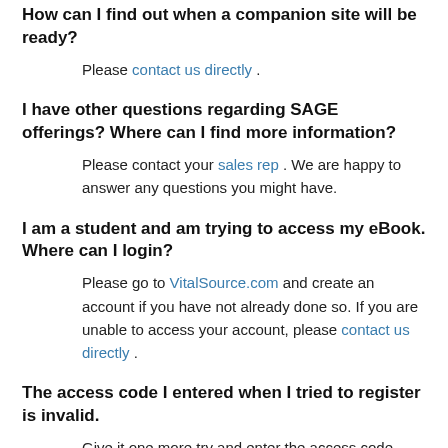How can I find out when a companion site will be ready?
Please contact us directly .
I have other questions regarding SAGE offerings? Where can I find more information?
Please contact your sales rep . We are happy to answer any questions you might have.
I am a student and am trying to access my eBook. Where can I login?
Please go to VitalSource.com and create an account if you have not already done so. If you are unable to access your account, please contact us directly .
The access code I entered when I tried to register is invalid.
Give it one more try and enter the access code again. If